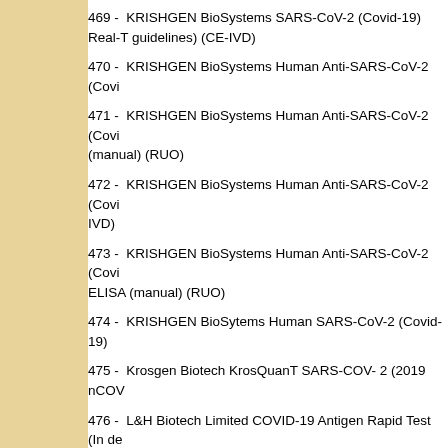469 -  KRISHGEN BioSystems SARS-CoV-2 (Covid-19) Real-T guidelines) (CE-IVD)
470 -  KRISHGEN BioSystems Human Anti-SARS-CoV-2 (Covi
471 -  KRISHGEN BioSystems Human Anti-SARS-CoV-2 (Covi (manual) (RUO)
472 -  KRISHGEN BioSystems Human Anti-SARS-CoV-2 (Covi IVD)
473 -  KRISHGEN BioSystems Human Anti-SARS-CoV-2 (Covi ELISA (manual) (RUO)
474 -  KRISHGEN BioSytems Human SARS-CoV-2 (Covid-19)
475 -  Krosgen Biotech KrosQuanT SARS-COV- 2 (2019 nCOV
476 -  L&H Biotech Limited COVID-19 Antigen Rapid Test (In de
477 -  L7 Informatics Enterprise Science Platform (HIPAA, CLIA
478 -  LabGenomics Co., Ltd LabGun™ COVID 19 Assay PCR - South Africa SAPHRA - CE-IVD)
479 -  Labnovation Technologies Inc. COVID-19 (SARS-CoV-2) IVD) 1, 2